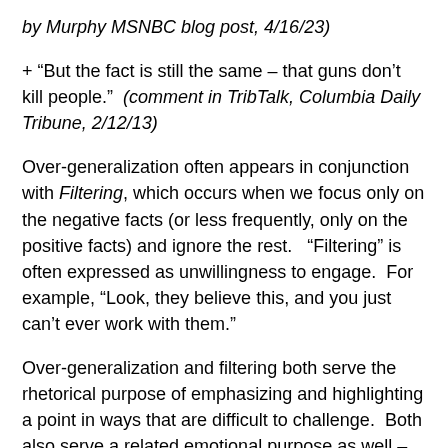by Murphy MSNBC blog post, 4/16/23)
+ “But the fact is still the same – that guns don’t kill people.”  (comment in TribTalk, Columbia Daily Tribune, 2/12/13)
Over-generalization often appears in conjunction with Filtering, which occurs when we focus only on the negative facts (or less frequently, only on the positive facts) and ignore the rest.   “Filtering” is often expressed as unwillingness to engage.  For example, “Look, they believe this, and you just can’t ever work with them.”
Over-generalization and filtering both serve the rhetorical purpose of emphasizing and highlighting a point in ways that are difficult to challenge.  Both also serve a related emotional purpose as well – they signal that the speaker believes strongly in a particular point, and wants others to